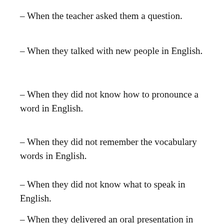– When the teacher asked them a question.
– When they talked with new people in English.
– When they did not know how to pronounce a word in English.
– When they did not remember the vocabulary words in English.
– When they did not know what to speak in English.
– When they delivered an oral presentation in English.